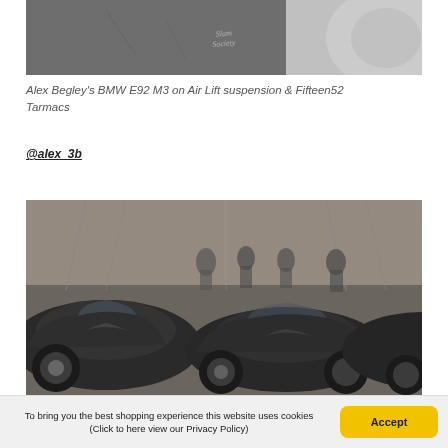[Figure (photo): Close-up black and white photo of a car (BMW E92 M3) showing details of the body and wheel area, with a 'Slam Society' script watermark visible in the center.]
Alex Begley's BMW E92 M3 on Air Lift suspension & Fifteen52 Tarmacs
@alex_3b
[Figure (photo): Color photo of dark-colored classic Volkswagen Beetles lined up at an indoor car show or exhibition in a large industrial warehouse with scaffolding and people in the background.]
To bring you the best shopping experience this website uses cookies (Click to here view our Privacy Policy)